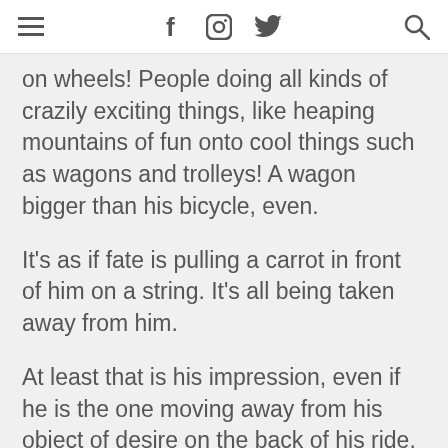≡  f  ○  ✓  🔍
on wheels! People doing all kinds of crazily exciting things, like heaping mountains of fun onto cool things such as wagons and trolleys! A wagon bigger than his bicycle, even.
It's as if fate is pulling a carrot in front of him on a string. It's all being taken away from him.
At least that is his impression, even if he is the one moving away from his object of desire on the back of his ride.
We share his pain, our conscience hurts: a sentiment that lasts right up till the